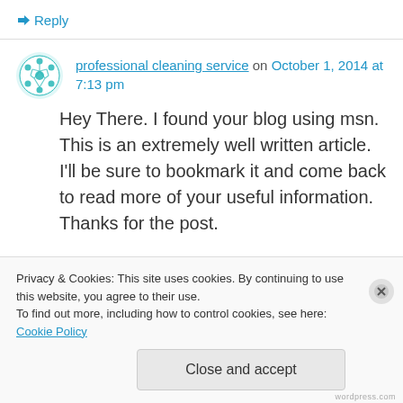↳ Reply
professional cleaning service on October 1, 2014 at 7:13 pm
Hey There. I found your blog using msn. This is an extremely well written article.
I'll be sure to bookmark it and come back to read more of your useful information. Thanks for the post.
Privacy & Cookies: This site uses cookies. By continuing to use this website, you agree to their use.
To find out more, including how to control cookies, see here: Cookie Policy
Close and accept